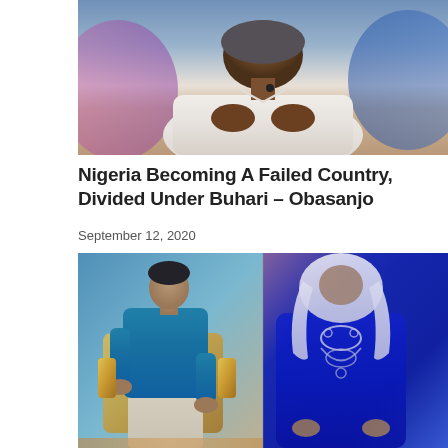[Figure (photo): A man wearing a white outfit and a small microphone, seated, hands clasped, photographed from the torso up against a blurred background with blue/pink tones.]
Nigeria Becoming A Failed Country, Divided Under Buhari – Obasanjo
September 12, 2020
[Figure (photo): Two people in traditional attire side by side: on the left, a woman in a teal/blue satin outfit seated on a gold chair; on the right, a person wearing a white hijab and an ornate royal blue embroidered garment.]